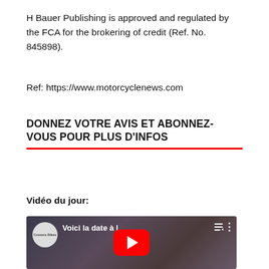H Bauer Publishing is approved and regulated by the FCA for the brokering of credit (Ref. No. 845898).
Ref: https://www.motorcyclenews.com
DONNEZ VOTRE AVIS ET ABONNEZ-VOUS POUR PLUS D'INFOS
Vidéo du jour:
[Figure (screenshot): YouTube video thumbnail showing 'Voici la date à l...' with a red play button, channel icon labeled 'Cosmos Bikes', and video controls icons on a dark background.]